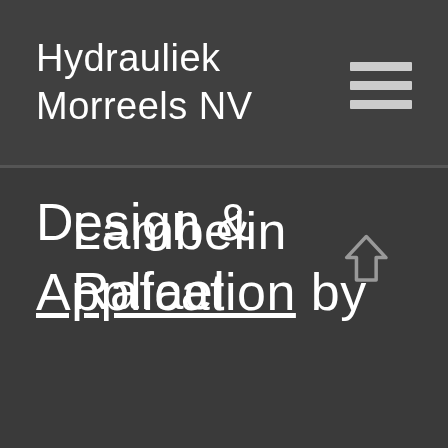Hydrauliek Morreels NV
Design & Application by Lambelin Rafael